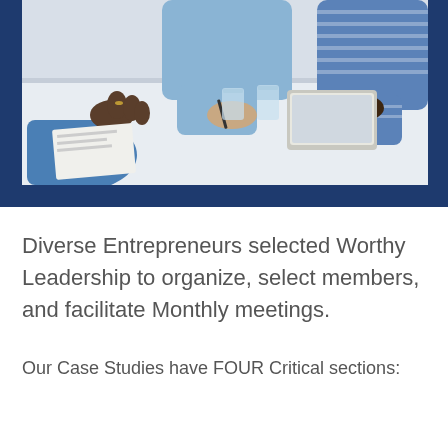[Figure (photo): Business meeting photo showing hands of diverse participants around a table with glasses of water and a laptop, overhead view.]
Diverse Entrepreneurs selected Worthy Leadership to organize, select members, and facilitate Monthly meetings.
Our Case Studies have FOUR Critical sections: